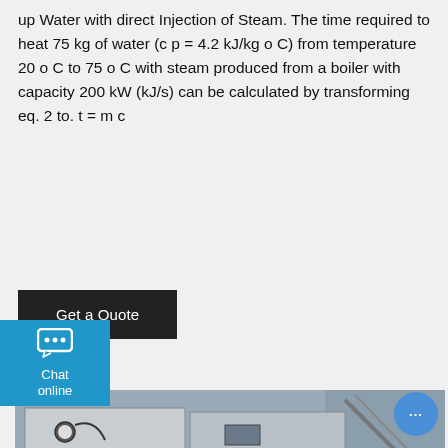up Water with direct Injection of Steam. The time required to heat 75 kg of water (c p = 4.2 kJ/kg o C) from temperature 20 o C to 75 o C with steam produced from a boiler with capacity 200 kW (kJ/s) can be calculated by transforming eq. 2 to. t = m c
Get a Quote
[Figure (photo): Industrial boilers (likely ZOZEN brand) arranged in a row, stainless steel finish, with pipes and gauges visible. ZOZEN BOILER watermark text visible on image.]